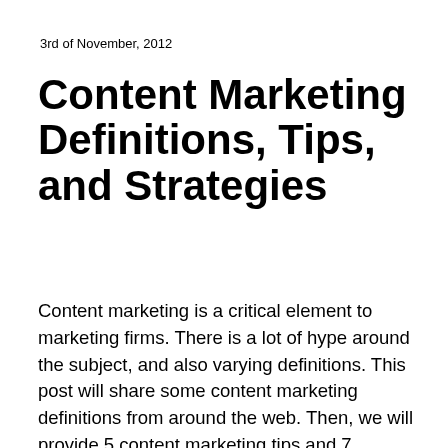3rd of November, 2012
Content Marketing Definitions, Tips, and Strategies
Content marketing is a critical element to marketing firms. There is a lot of hype around the subject, and also varying definitions. This post will share some content marketing definitions from around the web. Then, we will provide 5 content marketing tips and 7 strategies for 2013. What is Content Marketing? Content marketing is a hot topic in the